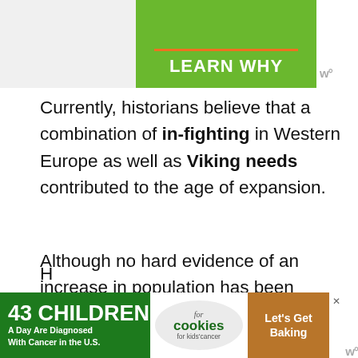[Figure (other): Green advertisement banner with orange underline and text 'LEARN WHY' in white bold text on green background, with 'W°' logo]
Currently, historians believe that a combination of in-fighting in Western Europe as well as Viking needs contributed to the age of expansion.
Although no hard evidence of an increase in population has been discovered yet, some historians postulate that Vikings left Scandinavia to escape overpopulation.
[Figure (other): Advertisement banner: '43 CHILDREN A Day Are Diagnosed With Cancer in the U.S.' with cookies for kids cancer logo and 'Let's Get Baking' button]